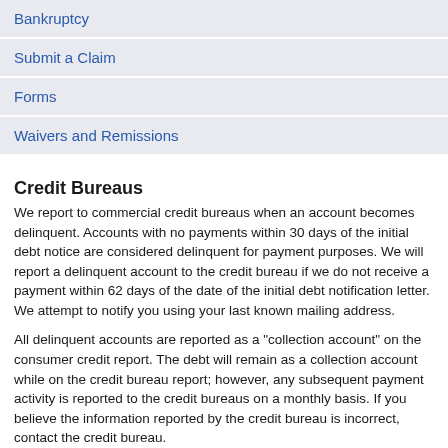Bankruptcy
Submit a Claim
Forms
Waivers and Remissions
Credit Bureaus
We report to commercial credit bureaus when an account becomes delinquent. Accounts with no payments within 30 days of the initial debt notice are considered delinquent for payment purposes. We will report a delinquent account to the credit bureau if we do not receive a payment within 62 days of the date of the initial debt notification letter. We attempt to notify you using your last known mailing address.
All delinquent accounts are reported as a "collection account" on the consumer credit report. The debt will remain as a collection account while on the credit bureau report; however, any subsequent payment activity is reported to the credit bureaus on a monthly basis. If you believe the information reported by the credit bureau is incorrect, contact the credit bureau.